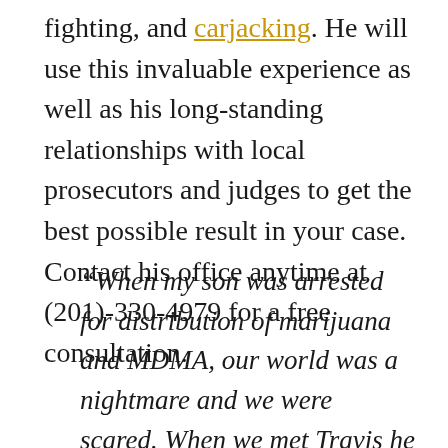fighting, and carjacking. He will use this invaluable experience as well as his long-standing relationships with local prosecutors and judges to get the best possible result in your case. Contact his office anytime at (201)-330-4979 for a free consultation.
“When my son was arrested for distribution of marijuana and MDMA, our world was a nightmare and we were scared. When we met Travis he reassured us that my son would be